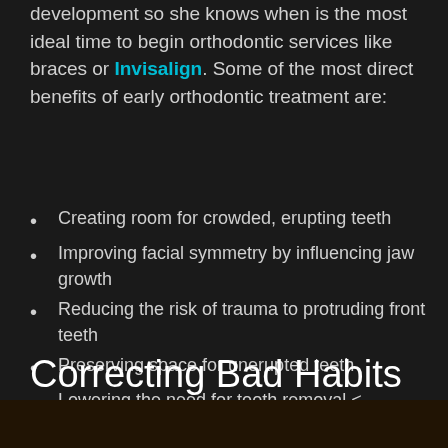development so she knows when is the most ideal time to begin orthodontic services like braces or Invisalign. Some of the most direct benefits of early orthodontic treatment are:
Creating room for crowded, erupting teeth
Improving facial symmetry by influencing jaw growth
Reducing the risk of trauma to protruding front teeth
Preserving space for unerupted teeth
Lowering the need for tooth removal <
Minimizing treatment time with braces
Correcting Bad Habits
[Figure (photo): Bottom strip showing a partial photo, likely a person, dark tones]